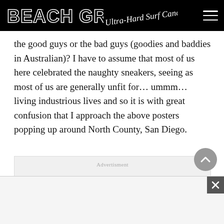BEACH GRIT Ultra-Hard Surf Candy
the good guys or the bad guys (goodies and baddies in Australian)? I have to assume that most of us here celebrated the naughty sneakers, seeing as most of us are generally unfit for… ummm… living industrious lives and so it is with great confusion that I approach the above posters popping up around North County, San Diego.
[Figure (other): Advertisement placeholder box with light gray background and 'Advertisment' label text]
[Figure (other): Bottom advertisement bar with close (X) button in bottom right corner]